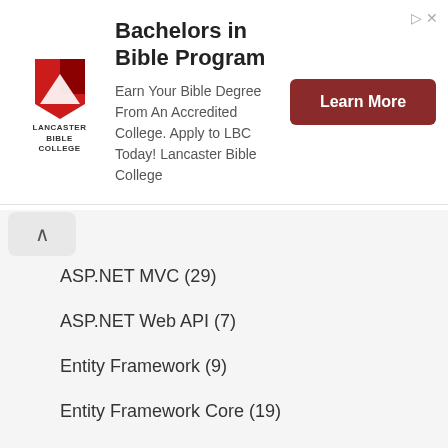[Figure (other): Lancaster Bible College advertisement banner with logo, text, and Learn More button]
ASP.NET MVC (29)
ASP.NET Web API (7)
Entity Framework (9)
Entity Framework Core (19)
Golang (159)
Golang (77)
Golang and MongoDB (24)
Golang and MySQL (16)
Golang RESTful Web API (10)